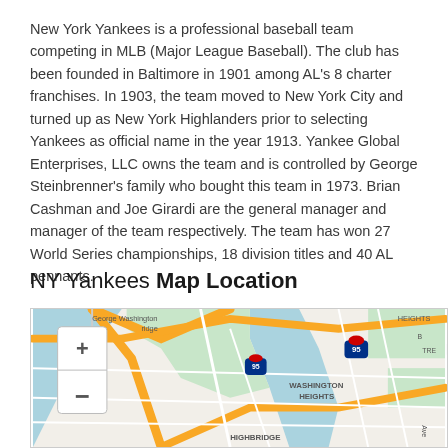New York Yankees is a professional baseball team competing in MLB (Major League Baseball). The club has been founded in Baltimore in 1901 among AL's 8 charter franchises. In 1903, the team moved to New York City and turned up as New York Highlanders prior to selecting Yankees as official name in the year 1913. Yankee Global Enterprises, LLC owns the team and is controlled by George Steinbrenner's family who bought this team in 1973. Brian Cashman and Joe Girardi are the general manager and manager of the team respectively. The team has won 27 World Series championships, 18 division titles and 40 AL pennants.
NY Yankees Map Location
[Figure (map): Google Maps view showing the area around Washington Heights and Highbridge in New York City, with the George Washington Bridge area visible, Interstate 95 markers, and zoom controls (+/-) on the left side.]